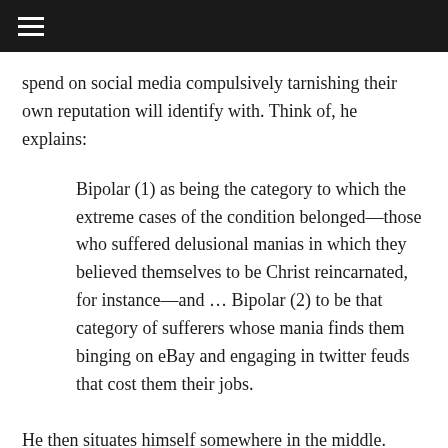≡
spend on social media compulsively tarnishing their own reputation will identify with. Think of, he explains:
Bipolar (1) as being the category to which the extreme cases of the condition belonged—those who suffered delusional manias in which they believed themselves to be Christ reincarnated, for instance—and … Bipolar (2) to be that category of sufferers whose mania finds them binging on eBay and engaging in twitter feuds that cost them their jobs.
He then situates himself somewhere in the middle.
Carmen provides an even-handed treatment of his own deluded state. Psychotic episodes, including one in